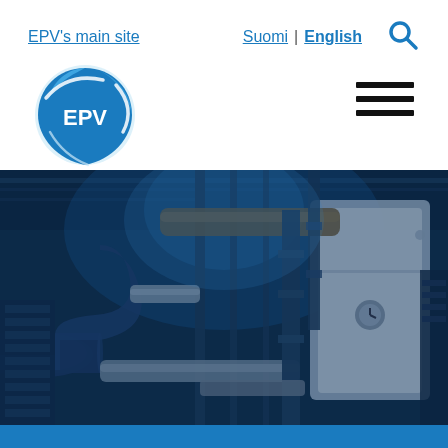EPV's main site   Suomi | English
[Figure (logo): EPV logo — blue teardrop/shield shape with white EPV text and silver swoosh lines]
[Figure (photo): Industrial power plant interior with pipes, tubes, pressure vessels, and machinery shown in a blue-tinted photograph]
[Figure (other): Solid blue footer bar at bottom of page]